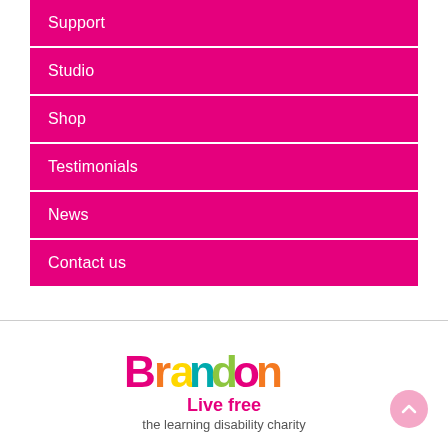Support
Studio
Shop
Testimonials
News
Contact us
[Figure (logo): Brandon Trust logo with colourful letters spelling 'Brandon', tagline 'Live free' in pink, subtitle 'the learning disability charity' in grey]
scroll to top button